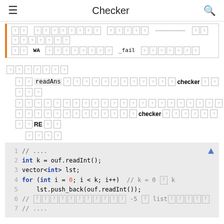Checker
[Figure (screenshot): Code snippet with orange left border showing WA and _fail related content in Japanese/unknown characters]
[mystery characters] section heading
readAns [mystery chars] checker [mystery chars]
[mystery chars] checker [mystery chars] RE [mystery chars]
[mystery chars] sub-item
[Figure (screenshot): Code block showing C++ checker code: // ...., int k = ouf.readInt();, vector<int> lst;, for (int i = 0; i < k; i++) // k = 0 [box] k, lst.push_back(ouf.readInt());, // [mystery] -5 [box] list[mystery], // ....]